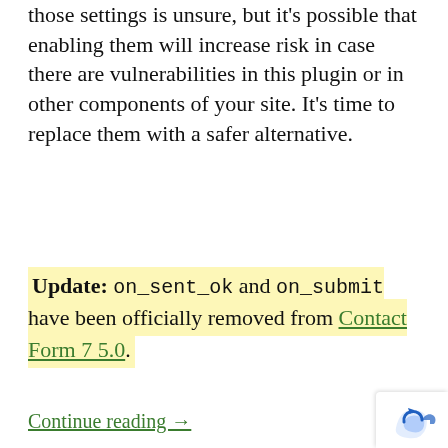those settings is unsure, but it's possible that enabling them will increase risk in case there are vulnerabilities in this plugin or in other components of your site. It's time to replace them with a safer alternative.
Update: on_sent_ok and on_submit have been officially removed from Contact Form 7 5.0.
Continue reading →
ANNOUNCEMENT
HTML is not allowed in